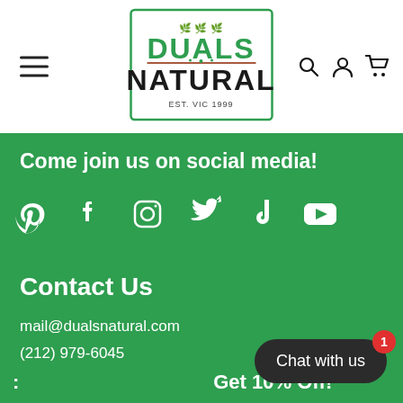[Figure (logo): Duals Natural logo with green border rectangle, green leaf decorations, and text reading DUALS NATURAL EST. VIC 1999]
Come join us on social media!
[Figure (infographic): Row of six white social media icons: Pinterest, Facebook, Instagram, Twitter/X, TikTok, YouTube]
Contact Us
mail@dualsnatural.com
(212) 979-6045
Get 10% Off!